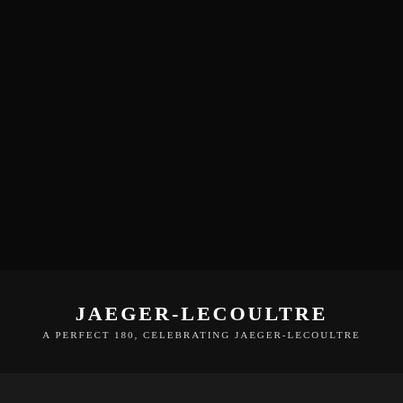[Figure (photo): Large dark/black background image occupying the upper portion of the page, showing a watch or luxury timepiece in very low-key lighting against a black background.]
JAEGER-LECOULTRE
A PERFECT 180, CELEBRATING JAEGER-LECOULTRE
[Figure (photo): Dark bottom section of the page with partial text or imagery visible at the very bottom edge.]